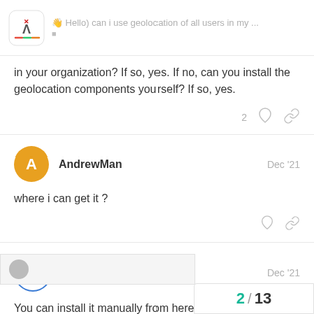Hello) can i use geolocation of all users in my ...
in your organization? If so, yes. If no, can you install the geolocation components yourself? If so, yes.
2 likes, link actions
AndrewMan  Dec '21
where i can get it ?
TKOTC  Dec '21
You can install it manually from here
2 / 13